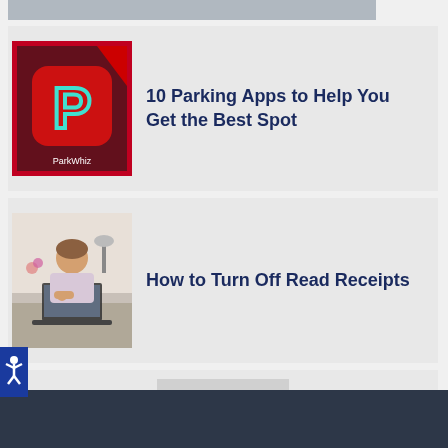[Figure (photo): Partial top image strip, cropped]
10 Parking Apps to Help You Get the Best Spot
[Figure (photo): ParkWhiz app icon on a phone screen]
How to Turn Off Read Receipts
[Figure (photo): Woman sitting at a laptop, thinking]
View All